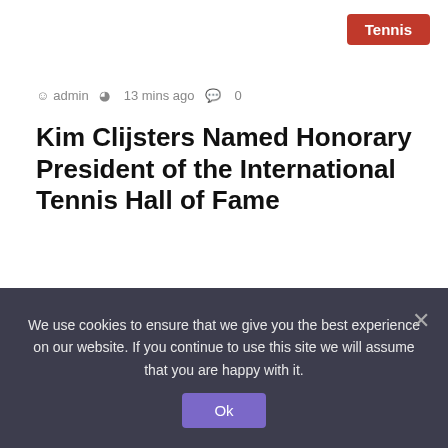Tennis
admin  13 mins ago  0
Kim Clijsters Named Honorary President of the International Tennis Hall of Fame
Global tennis star Kim Clijsters has been named Honorary President of the International Tennis Hall…
Read More »
15 mins ago
ICC's complex media rights auction strategy at test | Cricket
We use cookies to ensure that we give you the best experience on our website. If you continue to use this site we will assume that you are happy with it.
Ok